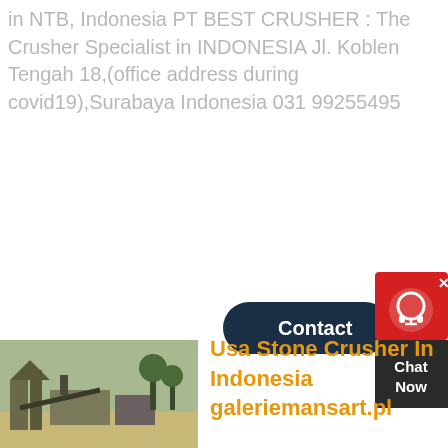in NTB, Indonesia PT BEST CRUSHER : The Crusher Specialist in INDONESIA Jl. Koblen Tengah 18,(office address during covid19),Surabaya Indonesia 031 99255495
[Figure (screenshot): Contact button (dark navy pill shape) with white text 'Contact' and a red chat widget with headset icon and 'Chat Now' text]
[Figure (photo): Stone crusher plant machinery at outdoor site with greenery in background]
Usa Stone Crusher In Indonesia galeriemansart.pl
[Figure (photo): Stone crusher industrial equipment with blue machinery components]
Usa Stone Crusher In Indonesia BEST Crusher Specialist in Indonesia Our pilot project of Stone Crusher Plant in NTB, Indonesia PT BEST CRUSHER : The
Crusher Specialist in INDONESIA Jl. Koblen Tengah 18,